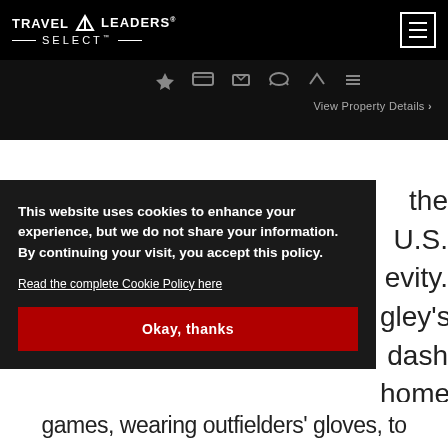TRAVEL LEADERS SELECT
[Figure (screenshot): Travel Leaders Select website navigation bar with logo and hamburger menu button]
View Property Details >
This website uses cookies to enhance your experience, but we do not share your information. By continuing your visit, you accept this policy.
Read the complete Cookie Policy here
Okay, thanks
the U.S. evity. gley's dash home
games, wearing outfielders' gloves, to